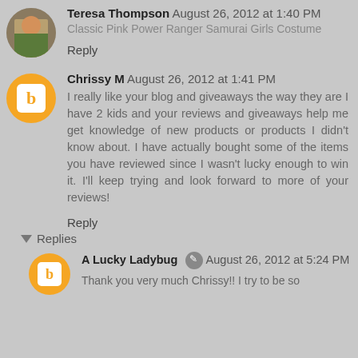Teresa Thompson  August 26, 2012 at 1:40 PM
Classic Pink Power Ranger Samurai Girls Costume
Reply
Chrissy M  August 26, 2012 at 1:41 PM
I really like your blog and giveaways the way they are I have 2 kids and your reviews and giveaways help me get knowledge of new products or products I didn't know about. I have actually bought some of the items you have reviewed since I wasn't lucky enough to win it. I'll keep trying and look forward to more of your reviews!
Reply
Replies
A Lucky Ladybug  August 26, 2012 at 5:24 PM
Thank you very much Chrissy!! I try to be so